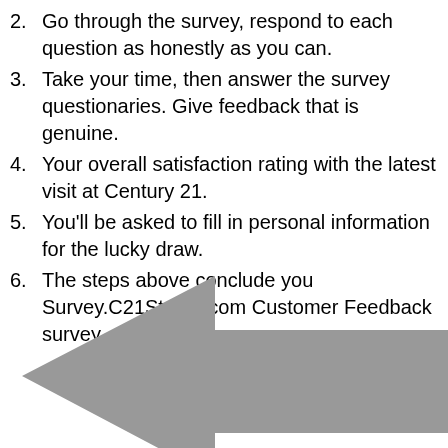2. Go through the survey, respond to each question as honestly as you can.
3. Take your time, then answer the survey questionaries. Give feedback that is genuine.
4. Your overall satisfaction rating with the latest visit at Century 21.
5. You'll be asked to fill in personal information for the lucky draw.
6. The steps above conclude you Survey.C21Stores.com Customer Feedback survey.
[Figure (illustration): A large gray left-pointing arrow graphic at the bottom of the page]